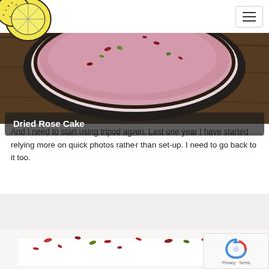[Figure (photo): Top-down view of a Dried Rose Cake with pink frosting and scattered dried rose petals on a dark wooden background]
Dried Rose Cake
And I need to start using tripod again. Last one year I have started relying more on quick photos rather than set-up. I need to go back to it too.
[Figure (photo): Close-up of a white cake decorated with scattered dried rose petals and pistachios on a light background]